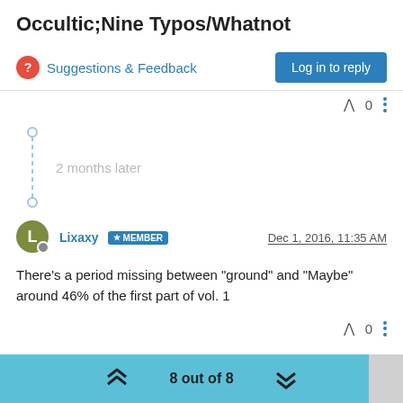Occultic;Nine Typos/Whatnot
Suggestions & Feedback
Log in to reply
0
2 months later
Lixaxy MEMBER  Dec 1, 2016, 11:35 AM
There's a period missing between "ground" and "Maybe" around 46% of the first part of vol. 1
0
8 out of 8